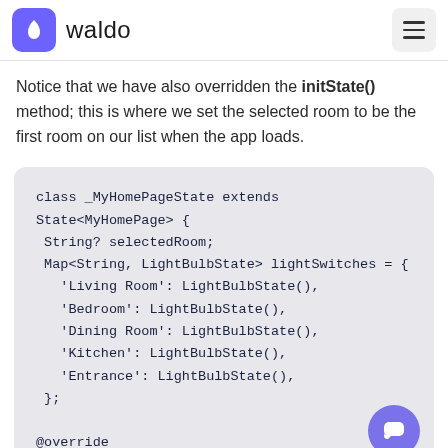waldo
Notice that we have also overridden the initState() method; this is where we set the selected room to be the first room on our list when the app loads.
[Figure (screenshot): Code block showing Dart/Flutter class definition: class _MyHomePageState extends State<MyHomePage> { String? selectedRoom; Map<String, LightBulbState> lightSwitches = { 'Living Room': LightBulbState(), 'Bedroom': LightBulbState(), 'Dining Room': LightBulbState(), 'Kitchen': LightBulbState(), 'Entrance': LightBulbState(), }; @override]